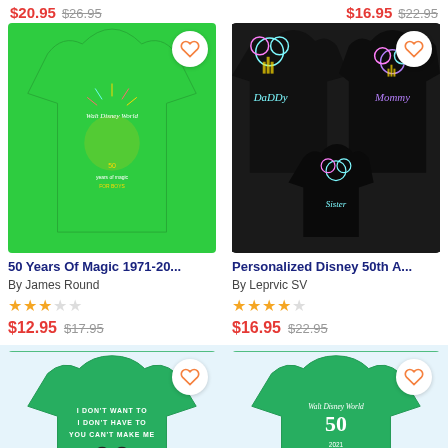$20.95  $26.95  |  $16.95  $22.95
[Figure (photo): Green t-shirt with Walt Disney World 50 Years characters and fireworks design]
[Figure (photo): Three black t-shirts with personalized Disney 50th Anniversary holographic Mickey Mouse design, labeled Daddy, Mommy, Sister]
50 Years Of Magic 1971-20...
By James Round
★★★☆☆
$12.95  $17.95
Personalized Disney 50th A...
By Leprvic SV
★★★★☆
$16.95  $22.95
[Figure (photo): Green t-shirt with text: I DON'T WANT TO I DON'T HAVE TO YOU CAN'T MAKE ME, and Mickey Mouse graphic]
[Figure (photo): Green t-shirt with Walt Disney World 50th anniversary logo]